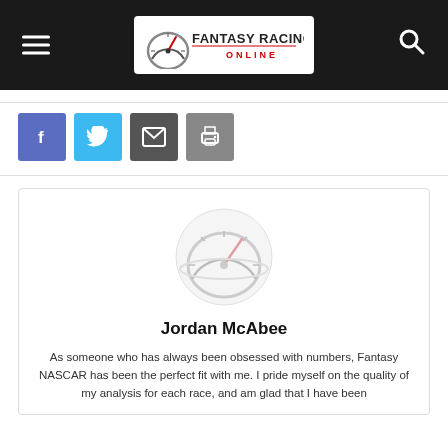Fantasy Racing Online — site header with navigation menu icon, logo, and search icon
[Figure (logo): Social share buttons: Facebook (blue), Twitter (light blue), Email (dark gray), Print (gray)]
Jordan McAbee
As someone who has always been obsessed with numbers, Fantasy NASCAR has been the perfect fit with me. I pride myself on the quality of my analysis for each race, and am glad that I have been